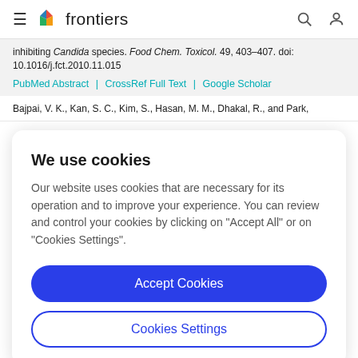frontiers
inhibiting Candida species. Food Chem. Toxicol. 49, 403–407. doi: 10.1016/j.fct.2010.11.015
PubMed Abstract | CrossRef Full Text | Google Scholar
Bajpai, V. K., Kan, S. C., Kim, S., Hasan, M. M., Dhakal, R., and Park,
We use cookies
Our website uses cookies that are necessary for its operation and to improve your experience. You can review and control your cookies by clicking on "Accept All" or on "Cookies Settings".
Accept Cookies
Cookies Settings